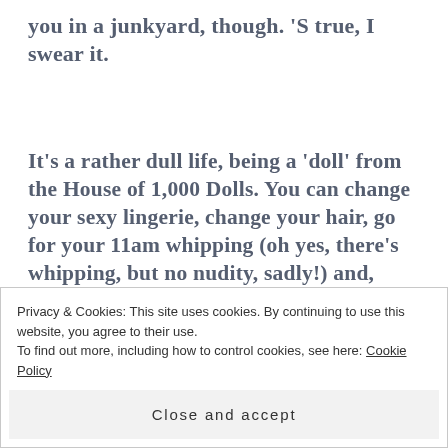you in a junkyard, though. 'S true, I swear it.
It's a rather dull life, being a 'doll' from the House of 1,000 Dolls. You can change your sexy lingerie, change your hair, go for your 11am whipping (oh yes, there's whipping, but no nudity, sadly!) and, erm, that's about it. The poor 'dolls.' No wonder they're always sitting
Privacy & Cookies: This site uses cookies. By continuing to use this website, you agree to their use.
To find out more, including how to control cookies, see here: Cookie Policy
Close and accept